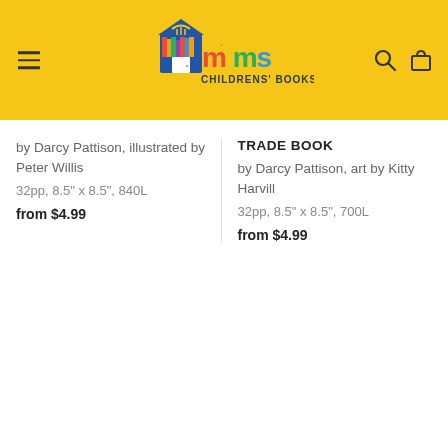[Figure (logo): Mims Childrens' Books logo with house/book icon and colorful text on yellow header bar]
by Darcy Pattison, illustrated by Peter Willis
32pp, 8.5" x 8.5", 840L
from $4.99
TRADE BOOK
by Darcy Pattison, art by Kitty Harvill
32pp, 8.5" x 8.5", 700L
from $4.99